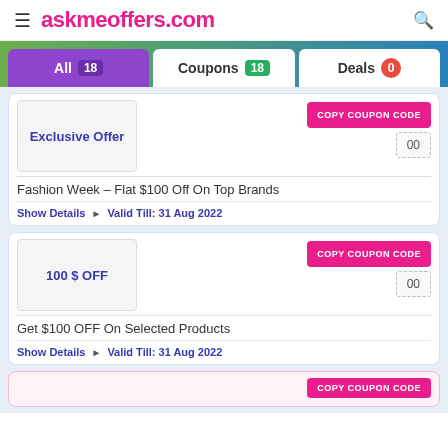askmeoffers.com
All 18  Coupons 18  Deals 0
[Figure (screenshot): Exclusive Offer coupon card with COPY COUPON CODE button and code box showing '00']
Fashion Week – Flat $100 Off On Top Brands
Show Details  ⊳  Valid Till: 31 Aug 2022
[Figure (screenshot): 100 $ OFF coupon card with COPY COUPON CODE button and code box showing '00']
Get $100 OFF On Selected Products
Show Details  ⊳  Valid Till: 31 Aug 2022